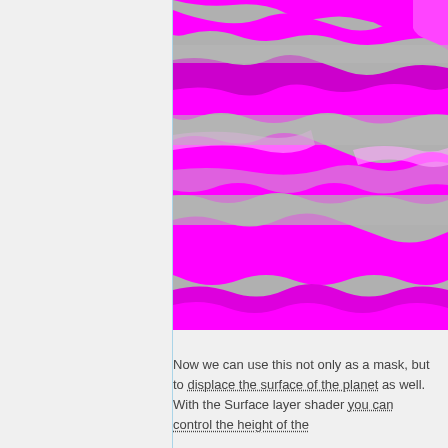[Figure (photo): A 3D rendered surface showing a grey undulating terrain with bright magenta/pink fluid or lava-like patterns flowing across it in diagonal bands, viewed from a perspective angle.]
Now we can use this not only as a mask, but to displace the surface of the planet as well. With the Surface layer shader you can control the height of the